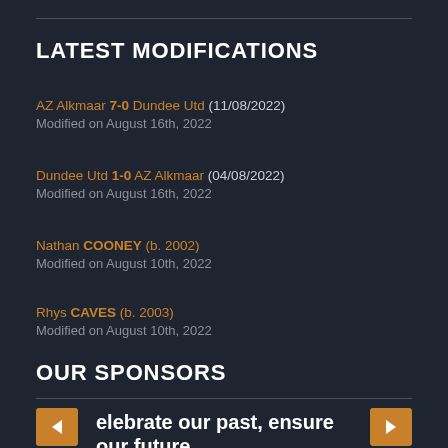LATEST MODIFICATIONS
AZ Alkmaar 7-0 Dundee Utd (11/08/2022)
Modified on August 16th, 2022
Dundee Utd 1-0 AZ Alkmaar (04/08/2022)
Modified on August 16th, 2022
Nathan COONEY (b. 2002)
Modified on August 10th, 2022
Rhys CAVES (b. 2003)
Modified on August 10th, 2022
OUR SPONSORS
elebrate our past, ensure our future